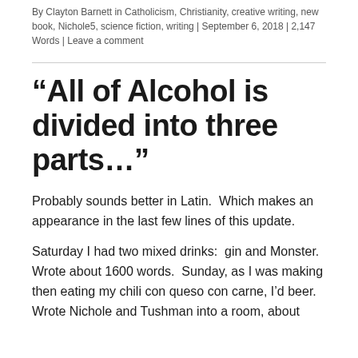By Clayton Barnett in Catholicism, Christianity, creative writing, new book, Nichole5, science fiction, writing | September 6, 2018 | 2,147 Words | Leave a comment
“All of Alcohol is divided into three parts…”
Probably sounds better in Latin.  Which makes an appearance in the last few lines of this update.
Saturday I had two mixed drinks:  gin and Monster.  Wrote about 1600 words.  Sunday, as I was making then eating my chili con queso con carne, I’d beer.  Wrote Nichole and Tushman into a room, about